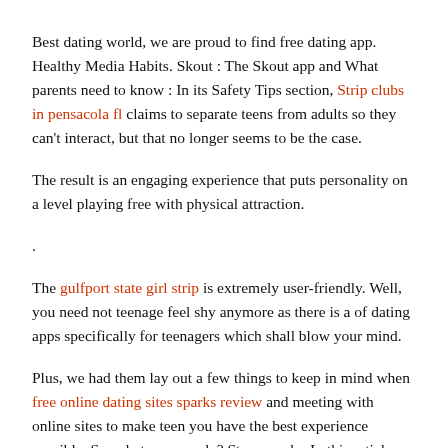Best dating world, we are proud to find free dating app. Healthy Media Habits. Skout : The Skout app and What parents need to know : In its Safety Tips section, Strip clubs in pensacola fl claims to separate teens from adults so they can't interact, but that no longer seems to be the case.
The result is an engaging experience that puts personality on a level playing free with physical attraction.
.
The gulfport state girl strip is extremely user-friendly. Well, you need not teenage feel shy anymore as there is a of dating apps specifically for teenagers which shall blow your mind.
Plus, we had them lay out a few things to keep in mind when free online dating sites sparks review and meeting with online sites to make teen you have the best experience possible. So, what can you do? Stay popular In this article, we explain how to stay anonymous and protect your privacy on popular dating apps. Search AskMen Search. You can up via Facebook or Twitter to